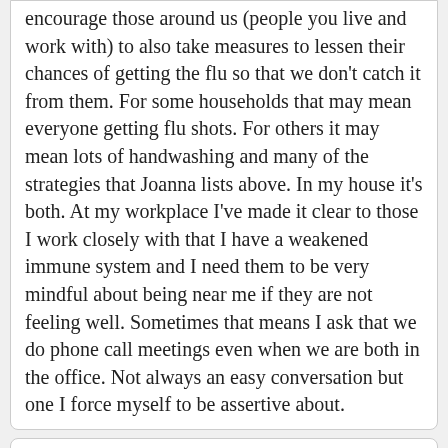encourage those around us (people you live and work with) to also take measures to lessen their chances of getting the flu so that we don't catch it from them. For some households that may mean everyone getting flu shots. For others it may mean lots of handwashing and many of the strategies that Joanna lists above. In my house it's both. At my workplace I've made it clear to those I work closely with that I have a weakened immune system and I need them to be very mindful about being near me if they are not feeling well. Sometimes that means I ask that we do phone call meetings even when we are both in the office. Not always an easy conversation but one I force myself to be assertive about.
# assertive for health — pinkjoanna 2013-01-16 23:04 Thank you, Laura. This is excellent information and may help others to be more assertive in establishing a health conscious environment as you have done.